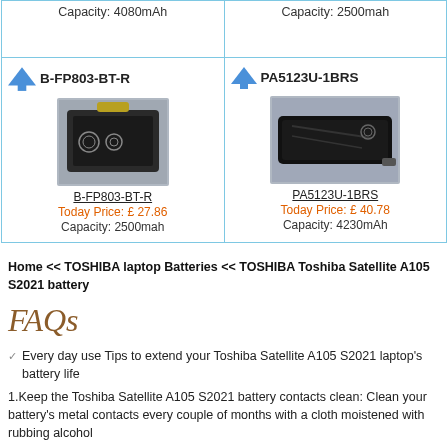[Figure (photo): Top row: two product cells with capacity text. Left: Capacity: 4080mAh. Right: Capacity: 2500mah.]
[Figure (photo): Bottom row left: B-FP803-BT-R battery product card with arrow icon, product photo, underlined name, price £27.86, Capacity: 2500mah]
[Figure (photo): Bottom row right: PA5123U-1BRS battery product card with arrow icon, product photo, underlined name, price £40.78, Capacity: 4230mAh]
Home << TOSHIBA laptop Batteries << TOSHIBA Toshiba Satellite A105 S2021 battery
FAQs
Every day use Tips to extend your Toshiba Satellite A105 S2021 laptop's battery life
1.Keep the Toshiba Satellite A105 S2021 battery contacts clean: Clean your battery's metal contacts every couple of months with a cloth moistened with rubbing alcohol